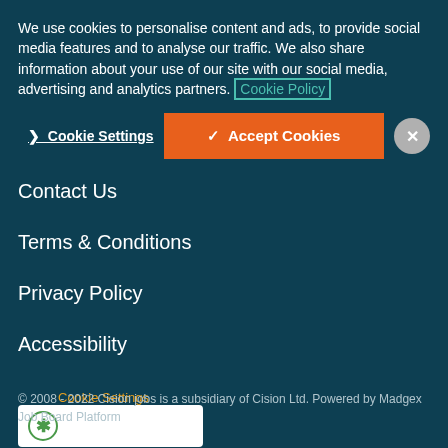We use cookies to personalise content and ads, to provide social media features and to analyse our traffic. We also share information about your use of our site with our social media, advertising and analytics partners. Cookie Policy
〉 Cookie Settings
✓ Accept Cookies
Contact Us
Terms & Conditions
Privacy Policy
Accessibility
Cookie Settings
© 2008 - 2022 Cision jobs is a subsidiary of Cision Ltd. Powered by Madgex Job Board Platform